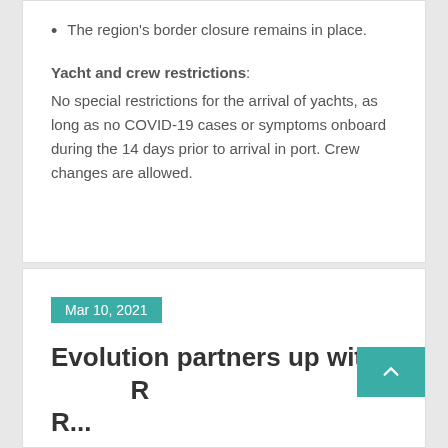The region's border closure remains in place.
Yacht and crew restrictions:
No special restrictions for the arrival of yachts, as long as no COVID-19 cases or symptoms onboard during the 14 days prior to arrival in port.  Crew changes are allowed.
Mar 10, 2021
Evolution partners up with R